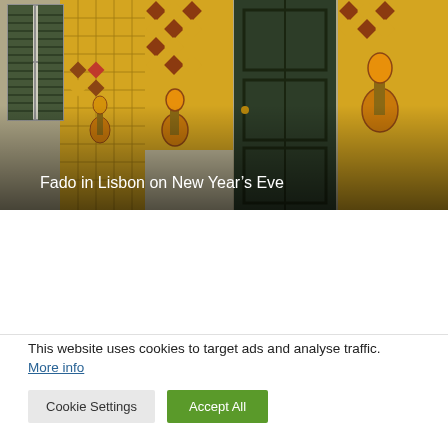[Figure (photo): Photograph of a colorful Portuguese building facade with yellow decorative mosaic tiles featuring guitars and geometric patterns, green shuttered window on the left, large dark green wooden door on the right. Text overlay reads 'Fado in Lisbon on New Year's Eve'.]
Fado in Lisbon on New Year’s Eve
This website uses cookies to target ads and analyse traffic. More info
Cookie Settings  Accept All